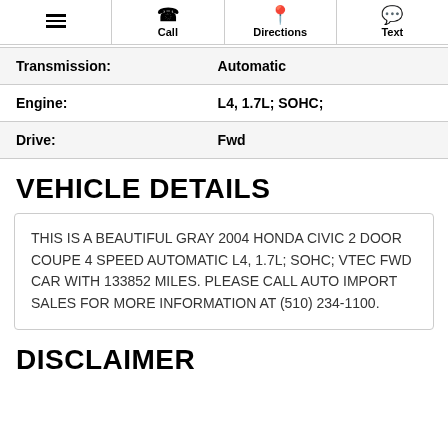Call | Directions | Text
| Field | Value |
| --- | --- |
| Transmission: | Automatic |
| Engine: | L4, 1.7L; SOHC; |
| Drive: | Fwd |
VEHICLE DETAILS
THIS IS A BEAUTIFUL GRAY 2004 HONDA CIVIC 2 DOOR COUPE 4 SPEED AUTOMATIC L4, 1.7L; SOHC; VTEC FWD CAR WITH 133852 MILES. PLEASE CALL AUTO IMPORT SALES FOR MORE INFORMATION AT (510) 234-1100.
DISCLAIMER